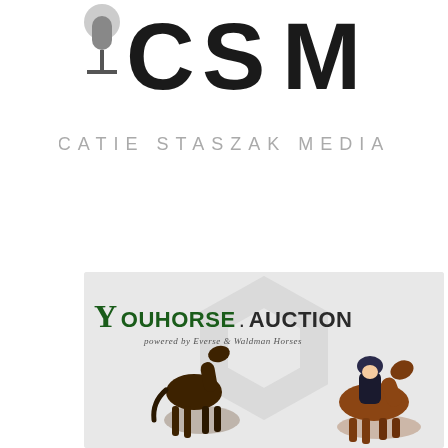[Figure (logo): CSM Catie Staszak Media logo — large stylized 'CSM' letters in black with a microphone icon, and 'CATIE STASZAK MEDIA' in grey below]
[Figure (logo): YouHorse.Auction logo and promotional banner — green and black 'YOUHORSE.AUCTION' text with 'powered by Everse & Waldman Horses' subtitle, featuring a dark horse and a rider on a chestnut horse on grey background]